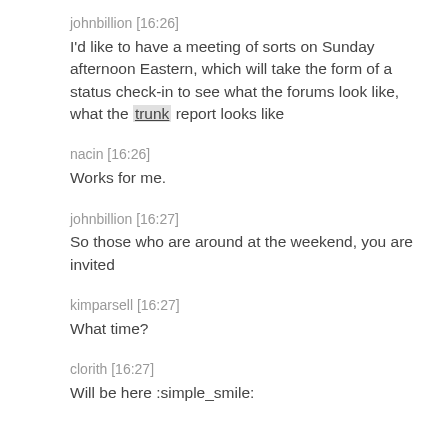johnbillion [16:26]
I'd like to have a meeting of sorts on Sunday afternoon Eastern, which will take the form of a status check-in to see what the forums look like, what the trunk report looks like
nacin [16:26]
Works for me.
johnbillion [16:27]
So those who are around at the weekend, you are invited
kimparsell [16:27]
What time?
clorith [16:27]
Will be here :simple_smile: